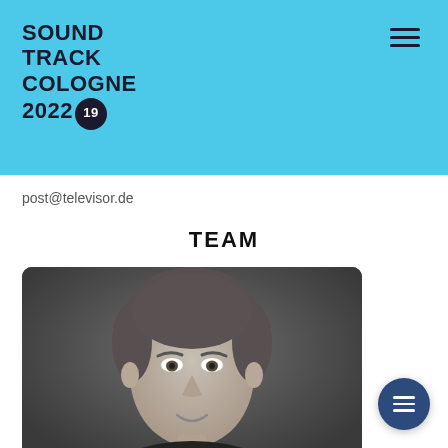SOUND TRACK COLOGNE 2022 19
post@televisor.de
TEAM
[Figure (photo): Black and white headshot portrait of a middle-aged man with short hair, looking at the camera with a slight smile, wearing a black t-shirt, against a dark grey background.]